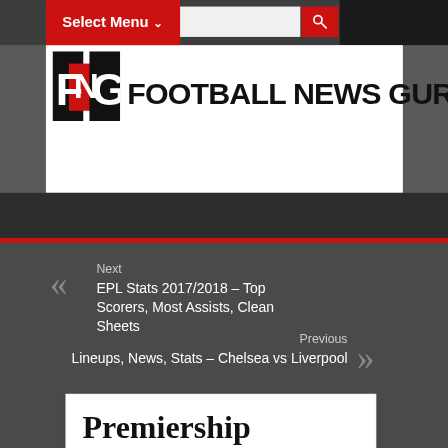Text to search...
FNG FOOTBALL NEWS GURU
Select Menu ▾
Next
EPL Stats 2017/2018 – Top Scorers, Most Assists, Clean Sheets
Previous
Lineups, News, Stats – Chelsea vs Liverpool
Premiership Referees A...